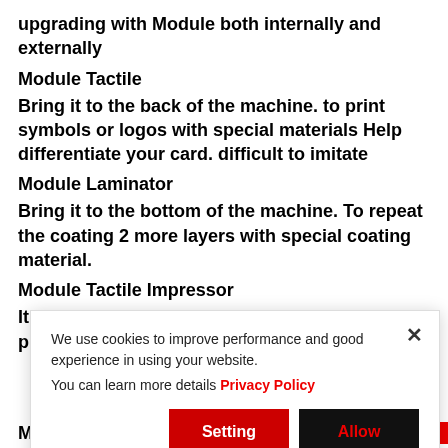upgrading with Module both internally and externally
Module Tactile
Bring it to the back of the machine. to print symbols or logos with special materials Help differentiate your card. difficult to imitate
Module Laminator
Bring it to the bottom of the machine. To repeat the coating 2 more layers with special coating material.
Module Tactile Impressor
It is in the Module Laminator, acting as a card pump, to
[Figure (screenshot): Cookie consent modal with text 'We use cookies to improve performance and good experience in using your website. You can learn more details Privacy Policy', with Setting and Allow buttons and an X close button.]
Module Embosser